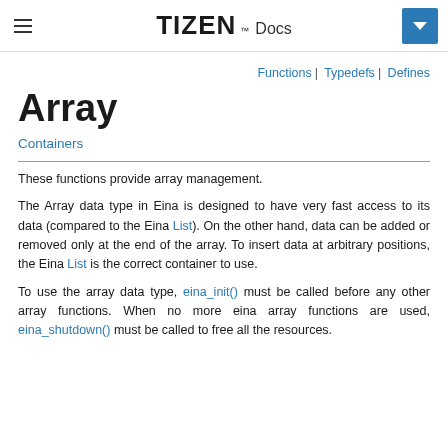TIZEN™ Docs
Functions | Typedefs | Defines
Array
Containers
These functions provide array management.
The Array data type in Eina is designed to have very fast access to its data (compared to the Eina List). On the other hand, data can be added or removed only at the end of the array. To insert data at arbitrary positions, the Eina List is the correct container to use.
To use the array data type, eina_init() must be called before any other array functions. When no more eina array functions are used, eina_shutdown() must be called to free all the resources.